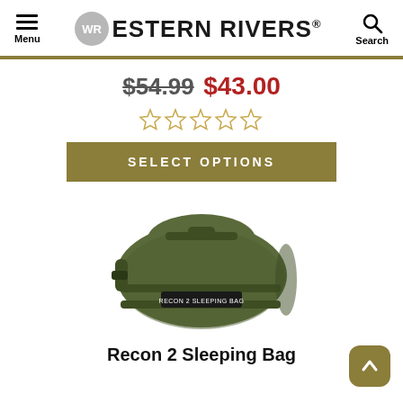Menu | WESTERN RIVERS® | Search
$54.99 $43.00
[Figure (infographic): Five empty star rating icons indicating no reviews yet]
SELECT OPTIONS
[Figure (photo): Olive green military-style Recon 2 Sleeping Bag packed into a compact rectangular carry bag with straps and a label patch reading RECON 2 SLEEPING BAG]
Recon 2 Sleeping Bag